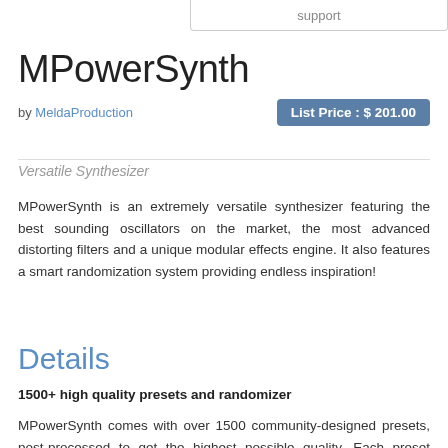support
MPowerSynth
by MeldaProduction
List Price : $ 201.00
Versatile Synthesizer
MPowerSynth is an extremely versatile synthesizer featuring the best sounding oscillators on the market, the most advanced distorting filters and a unique modular effects engine. It also features a smart randomization system providing endless inspiration!
Details
1500+ high quality presets and randomizer
MPowerSynth comes with over 1500 community-designed presets, post-processed to get the highest possible quality. Each preset features at least 4 macro controls, automatically